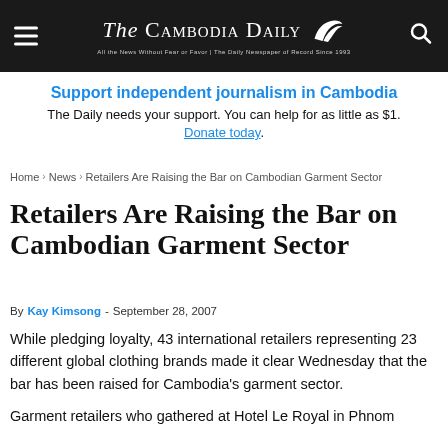The Cambodia Daily
Support independent journalism in Cambodia
The Daily needs your support. You can help for as little as $1. Donate today.
Home › News › Retailers Are Raising the Bar on Cambodian Garment Sector
Retailers Are Raising the Bar on Cambodian Garment Sector
By Kay Kimsong - September 28, 2007
While pledging loyalty, 43 international retailers representing 23 different global clothing brands made it clear Wednesday that the bar has been raised for Cambodia's garment sector.
Garment retailers who gathered at Hotel Le Royal in Phnom